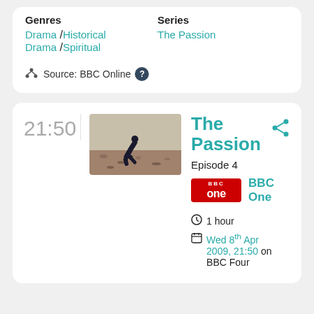Genres
Drama / Historical Drama / Spiritual
Series
The Passion
Source: BBC Online
21:50
[Figure (photo): A person kneeling on rocky desert ground]
The Passion
Episode 4
BBC One
1 hour
Wed 8th Apr 2009, 21:50 on BBC Four